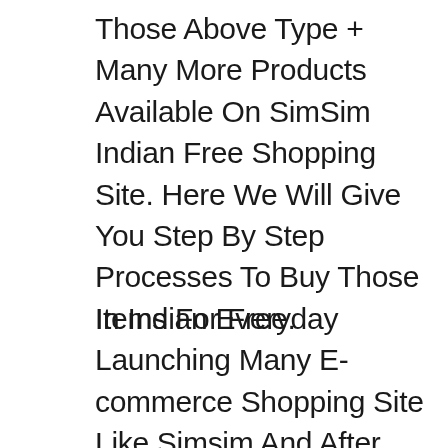Those Above Type + Many More Products Available On SimSim Indian Free Shopping Site. Here We Will Give You Step By Step Processes To Buy Those Items For Free.
In Indian Everyday Launching Many E-commerce Shopping Site Like Simsim And After Launching Those For Promotion Company Launched Some Free Shopping Offer As We Can See With Meesho App